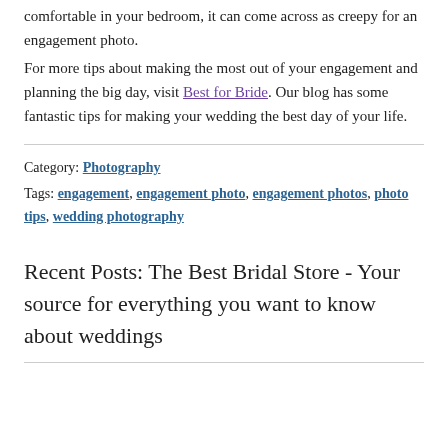comfortable in your bedroom, it can come across as creepy for an engagement photo.

For more tips about making the most out of your engagement and planning the big day, visit Best for Bride. Our blog has some fantastic tips for making your wedding the best day of your life.
Category: Photography
Tags: engagement, engagement photo, engagement photos, photo tips, wedding photography
Recent Posts: The Best Bridal Store - Your source for everything you want to know about weddings